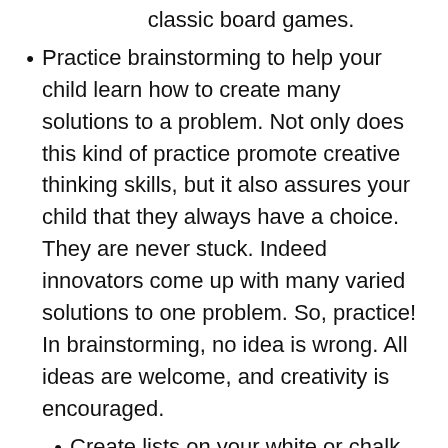classic board games.
Practice brainstorming to help your child learn how to create many solutions to a problem. Not only does this kind of practice promote creative thinking skills, but it also assures your child that they always have a choice. They are never stuck. Indeed innovators come up with many varied solutions to one problem. So, practice! In brainstorming, no idea is wrong. All ideas are welcome, and creativity is encouraged.
Create lists on your white or chalk board for fun. Post questions like: